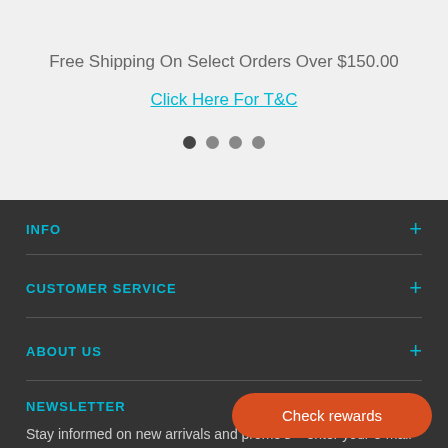Free Shipping On Select Orders Over $150.00
Click Here For T&C
[Figure (other): Carousel navigation dots — four dots, first one active/dark, remaining three lighter]
INFO
CUSTOMER SERVICE
ABOUT US
NEWSLETTER
Stay informed on new arrivals and promo's – enter your e-mail below!
Check rewards